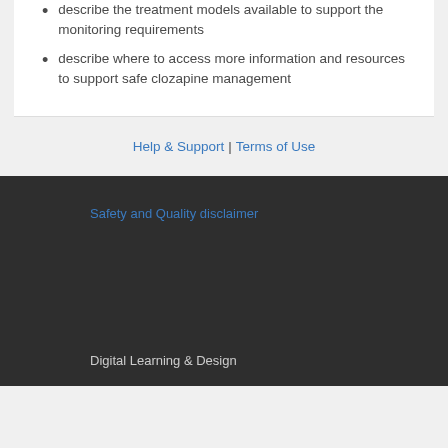describe the treatment models available to support the monitoring requirements
describe where to access more information and resources to support safe clozapine management
Help & Support | Terms of Use
Safety and Quality disclaimer
Digital Learning & Design